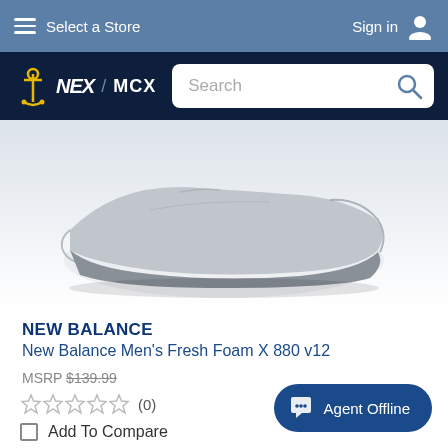Select a Store   Sign in
[Figure (logo): NEX / MCX logo with anchor icon]
[Figure (photo): New Balance Men's Fresh Foam X 880 v12 shoe product image, gray/silver colorway, side view]
NEW BALANCE
New Balance Men's Fresh Foam X 880 v12
MSRP $139.99
★★★★★ (0)
Add To Compare
Agent Offline